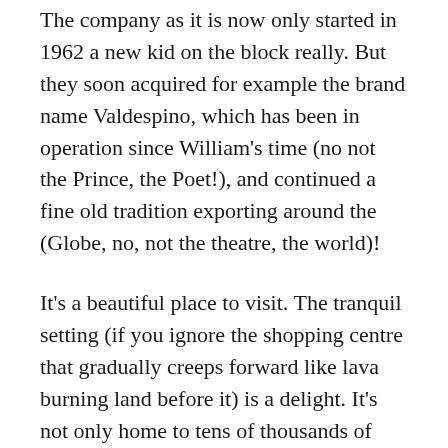The company as it is now only started in 1962 a new kid on the block really. But they soon acquired for example the brand name Valdespino, which has been in operation since William's time (no not the Prince, the Poet!), and continued a fine old tradition exporting around the (Globe, no, not the theatre, the world)!
It's a beautiful place to visit. The tranquil setting (if you ignore the shopping centre that gradually creeps forward like lava burning land before it) is a delight. It's not only home to tens of thousands of oak barrels holding some twenty five million bottle's worth of sherry. It also is a stud for the stunningly beautiful black-caped Jerez horses whose stables we